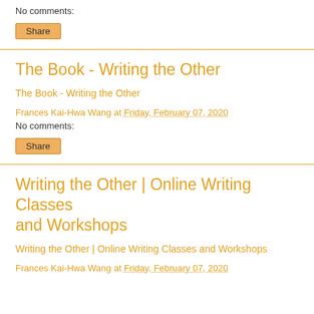No comments:
Share
The Book - Writing the Other
The Book - Writing the Other
Frances Kai-Hwa Wang at Friday, February 07, 2020
No comments:
Share
Writing the Other | Online Writing Classes and Workshops
Writing the Other | Online Writing Classes and Workshops
Frances Kai-Hwa Wang at Friday, February 07, 2020